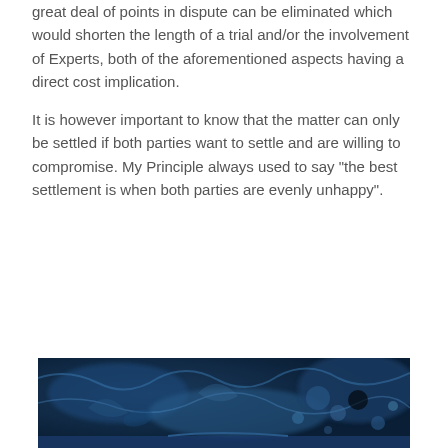great deal of points in dispute can be eliminated which would shorten the length of a trial and/or the involvement of Experts, both of the aforementioned aspects having a direct cost implication.
It is however important to know that the matter can only be settled if both parties want to settle and are willing to compromise. My Principle always used to say "the best settlement is when both parties are evenly unhappy".
[Figure (photo): Blue-toned water splash photograph with swirling water patterns and bubbles]